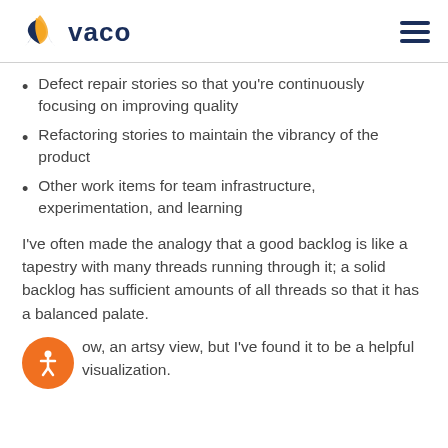vaco
Defect repair stories so that you're continuously focusing on improving quality
Refactoring stories to maintain the vibrancy of the product
Other work items for team infrastructure, experimentation, and learning
I've often made the analogy that a good backlog is like a tapestry with many threads running through it; a solid backlog has sufficient amounts of all threads so that it has a balanced palate.
ow, an artsy view, but I've found it to be a helpful visualization.